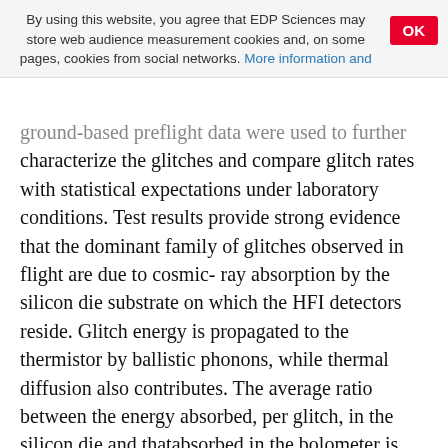By using this website, you agree that EDP Sciences may store web audience measurement cookies and, on some pages, cookies from social networks. More information and
ground-based preflight data were used to further characterize the glitches and compare glitch rates with statistical expectations under laboratory conditions. Test results provide strong evidence that the dominant family of glitches observed in flight are due to cosmic-ray absorption by the silicon die substrate on which the HFI detectors reside. Glitch energy is propagated to the thermistor by ballistic phonons, while thermal diffusion also contributes. The average ratio between the energy absorbed, per glitch, in the silicon die and thatabsorbed in the bolometer is equal to 650. We discuss the implications of these results for future satellite missions, especially those in the far-infrared to submillimeter and millimeter regions of the electromagnetic spectrum.